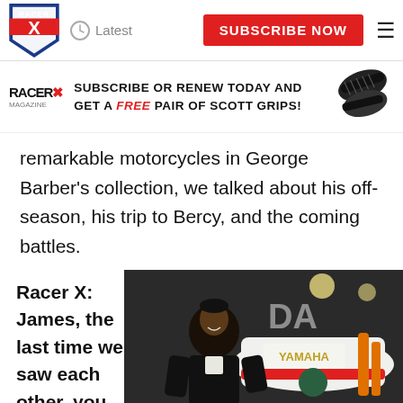Latest | SUBSCRIBE NOW
[Figure (infographic): Racer X magazine ad banner: SUBSCRIBE OR RENEW TODAY AND GET A FREE PAIR OF SCOTT GRIPS! with motorcycle grips image]
remarkable motorcycles in George Barber’s collection, we talked about his off-season, his trip to Bercy, and the coming battles.
Racer X: James, the last time we saw each other, you were
[Figure (photo): Photo of a man in a dark suit standing in front of a Yamaha motorcycle display]